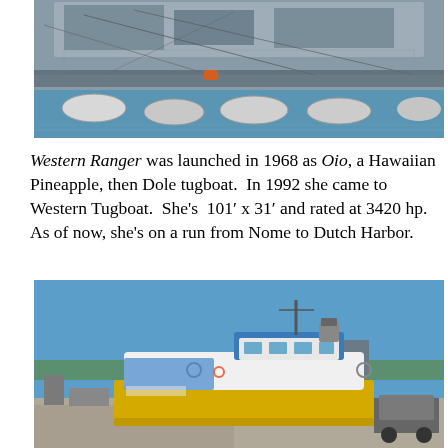[Figure (photo): A large gray naval/military vessel docked at a pier, with white cylindrical buoys floating in blue water in the foreground. Metal scaffolding and dock infrastructure visible.]
Western Ranger was launched in 1968 as Oio, a Hawaiian Pineapple, then Dole tugboat.  In 1992 she came to Western Tugboat.  She's  101′ x 31′ and rated at 3420 hp.  As of now, she's on a run from Nome to Dutch Harbor.
[Figure (photo): A white and yellow tugboat with a blue wheelhouse top docked at a harbor. Clear blue sky, green trees and industrial buildings in the background.]